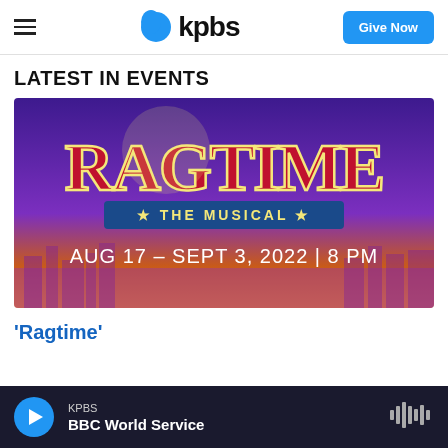kpbs | Give Now
LATEST IN EVENTS
[Figure (illustration): Ragtime The Musical event poster. Purple-to-orange gradient background with city skyline silhouette. Large stylized red and cream lettering reads 'RAGTIME' with decorative typography. Below that a blue banner reads '★ THE MUSICAL ★'. At the bottom in white text: 'AUG 17 – SEPT 3, 2022 | 8 PM']
'Ragtime'
KPBS | BBC World Service